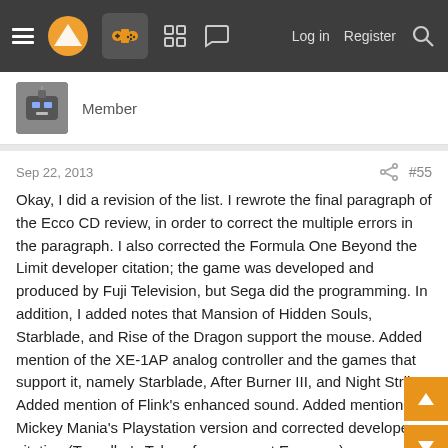Navigation bar with hamburger menu, logo, controller icon, grid icon, chat icon, Log in, Register, Search
Member
Sep 22, 2013  #55
Okay, I did a revision of the list. I rewrote the final paragraph of the Ecco CD review, in order to correct the multiple errors in the paragraph. I also corrected the Formula One Beyond the Limit developer citation; the game was developed and produced by Fuji Television, but Sega did the programming. In addition, I added notes that Mansion of Hidden Souls, Starblade, and Rise of the Dragon support the mouse. Added mention of the XE-1AP analog controller and the games that support it, namely Starblade, After Burner III, and Night Striker. Added mention of Flink's enhanced sound. Added mention of Mickey Mania's Playstation version and corrected developer citation (Traveller's Tales of course, not Eurocom).
HyperZone2